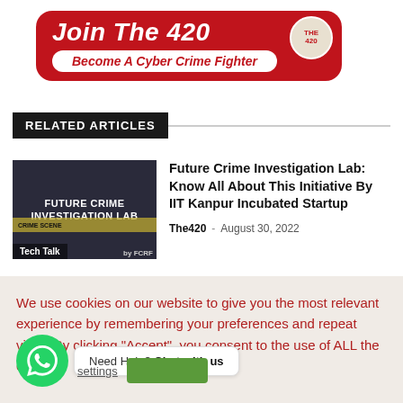[Figure (logo): Red banner with 'Join The 420' text and 'Become A Cyber Crime Fighter' subtitle with The420 circular logo]
RELATED ARTICLES
[Figure (photo): Dark image showing FUTURE CRIME INVESTIGATION LAB text with crime scene tape, Tech Talk tag, by FCRF credit]
Future Crime Investigation Lab: Know All About This Initiative By IIT Kanpur Incubated Startup
The420 - August 30, 2022
We use cookies on our website to give you the most relevant experience by remembering your preferences and repeat visits. By clicking "Accept", you consent to the use of ALL the cookies.
Need Help? Chat with us